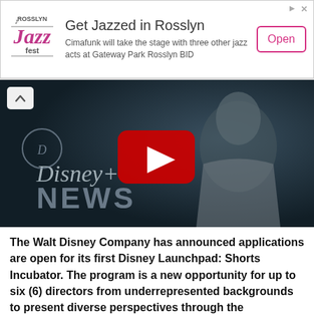[Figure (advertisement): Rosslyn Jazz Fest advertisement banner with logo, text 'Get Jazzed in Rosslyn', description about Cimafunk, and Open button]
[Figure (screenshot): YouTube video thumbnail showing Disney+ News branding with a person smiling and a YouTube play button overlay]
The Walt Disney Company has announced applications are open for its first Disney Launchpad: Shorts Incubator. The program is a new opportunity for up to six (6) directors from underrepresented backgrounds to present diverse perspectives through the production of original, live-action short films for proposed initial exhibition on the upcoming streaming service Disney+. Directors will be